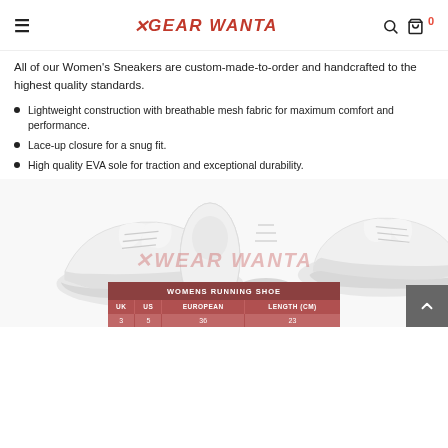GEAR WANTA
All of our Women's Sneakers are custom-made-to-order and handcrafted to the highest quality standards.
Lightweight construction with breathable mesh fabric for maximum comfort and performance.
Lace-up closure for a snug fit.
High quality EVA sole for traction and exceptional durability.
[Figure (photo): Three white women's sneakers shown from different angles with WEAR WANTA watermark]
| UK | US | EUROPEAN | LENGTH (CM) |
| --- | --- | --- | --- |
| 3 | 5 | 36 | 23 |